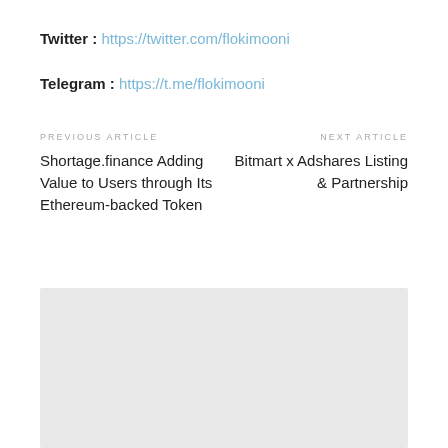Twitter : https://twitter.com/flokimooni
Telegram : https://t.me/flokimooni
PREVIOUS ARTICLE
Shortage.finance Adding Value to Users through Its Ethereum-backed Token
NEXT ARTICLE
Bitmart x Adshares Listing & Partnership
[Figure (other): Gray placeholder box at bottom of page]